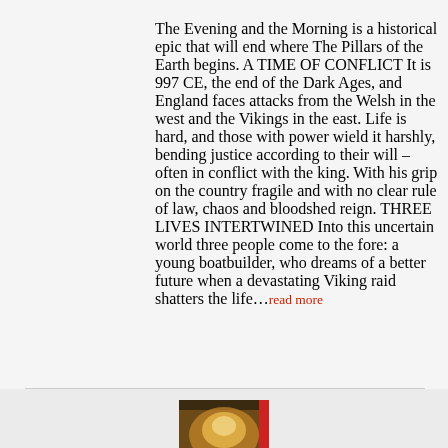The Evening and the Morning is a historical epic that will end where The Pillars of the Earth begins. A TIME OF CONFLICT It is 997 CE, the end of the Dark Ages, and England faces attacks from the Welsh in the west and the Vikings in the east. Life is hard, and those with power wield it harshly, bending justice according to their will – often in conflict with the king. With his grip on the country fragile and with no clear rule of law, chaos and bloodshed reign. THREE LIVES INTERTWINED Into this uncertain world three people come to the fore: a young boatbuilder, who dreams of a better future when a devastating Viking raid shatters the life...read more
[Figure (photo): Book cover of a Ken Follett novel, showing a dark atmospheric image with the author name KEN FOLLETT in large white letters at the bottom, and a red spine label on the right side.]